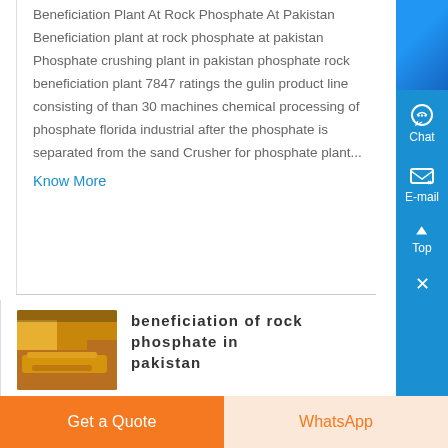Beneficiation Plant At Rock Phosphate At Pakistan Beneficiation plant at rock phosphate at pakistan Phosphate crushing plant in pakistan phosphate rock beneficiation plant 7847 ratings the gulin product line consisting of than 30 machines chemical processing of phosphate florida industrial after the phosphate is separated from the sand Crusher for phosphate plant...
Know More
[Figure (photo): Thumbnail image of industrial machinery or construction equipment, yellow/orange colored, likely a rock phosphate beneficiation machine]
beneficiation of rock phosphate in pakistan
Get a Quote
WhatsApp